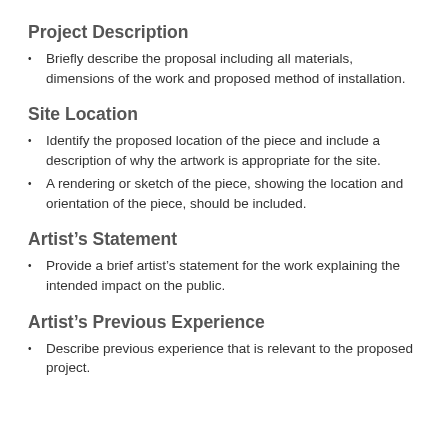Project Description
Briefly describe the proposal including all materials, dimensions of the work and proposed method of installation.
Site Location
Identify the proposed location of the piece and include a description of why the artwork is appropriate for the site.
A rendering or sketch of the piece, showing the location and orientation of the piece, should be included.
Artist’s Statement
Provide a brief artist’s statement for the work explaining the intended impact on the public.
Artist’s Previous Experience
Describe previous experience that is relevant to the proposed project.